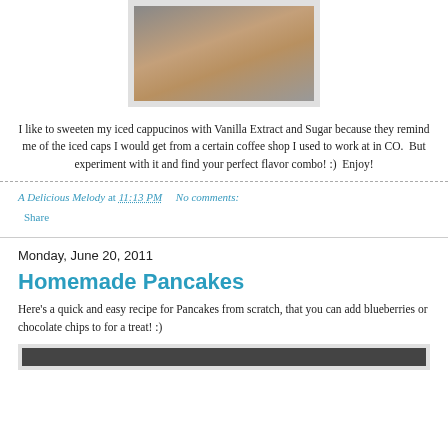[Figure (photo): Photo of an iced cappuccino in a glass, viewed from above, showing cream/ice contents]
I like to sweeten my iced cappucinos with Vanilla Extract and Sugar because they remind me of the iced caps I would get from a certain coffee shop I used to work at in CO.  But experiment with it and find your perfect flavor combo! :)  Enjoy!
A Delicious Melody at 11:13 PM    No comments:
Share
Monday, June 20, 2011
Homemade Pancakes
Here's a quick and easy recipe for Pancakes from scratch, that you can add blueberries or chocolate chips to for a treat! :)
[Figure (photo): Partial photo at bottom of page related to pancakes]